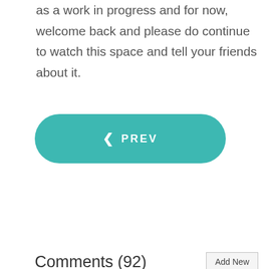as a work in progress and for now, welcome back and please do continue to watch this space and tell your friends about it.
[Figure (other): Teal/green rounded button with left chevron and text PREV]
Comments (92)
[Figure (other): Add New button, small gray bordered button]
Anonymous Tuesday, 16 June 2020
Welcome Back to the internets! You changed my Life! Thank You!!!!!! SPPete13
3 👍 👎 Quote Reply
greywolf Tuesday, 30 June 2020